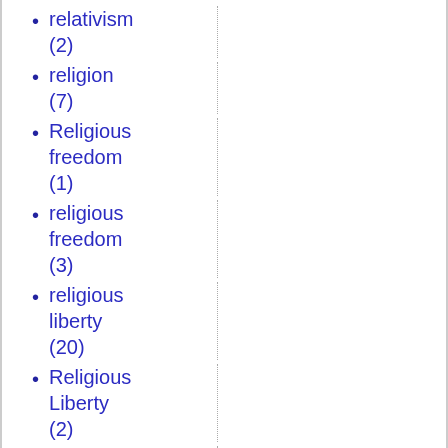relativism (2)
religion (7)
Religious freedom (1)
religious freedom (3)
religious liberty (20)
Religious Liberty (2)
religious persecution (11)
religious right (2)
remuneration (1)
Rep.